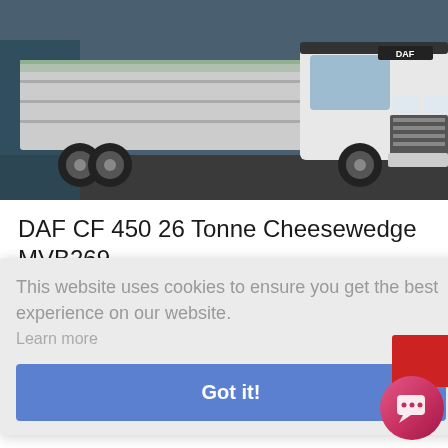[Figure (photo): DAF CF truck (flatbed/cheesewedge body, white cab) parked in a yard, viewed from front-left angle. DAF logo visible on cab.]
DAF CF 450 26 Tonne Cheesewedge MVB269
| Attribute | Value |
| --- | --- |
| Make: | DAF |
This website uses cookies to ensure you get the best experience on our website.
Learn more
Got it!